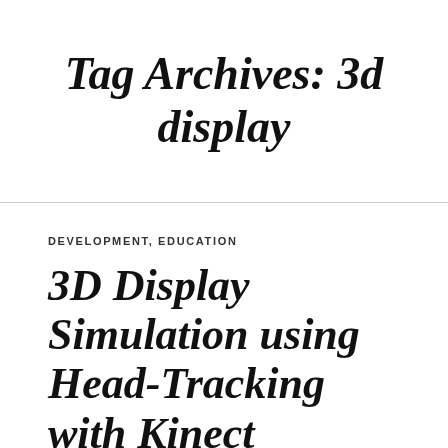Tag Archives: 3d display
DEVELOPMENT, EDUCATION
3D Display Simulation using Head-Tracking with Kinect